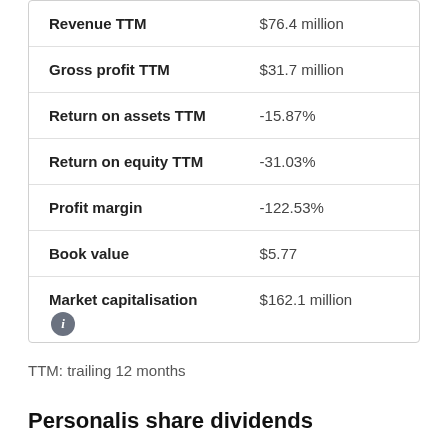| Metric | Value |
| --- | --- |
| Revenue TTM | $76.4 million |
| Gross profit TTM | $31.7 million |
| Return on assets TTM | -15.87% |
| Return on equity TTM | -31.03% |
| Profit margin | -122.53% |
| Book value | $5.77 |
| Market capitalisation | $162.1 million |
TTM: trailing 12 months
Personalis share dividends